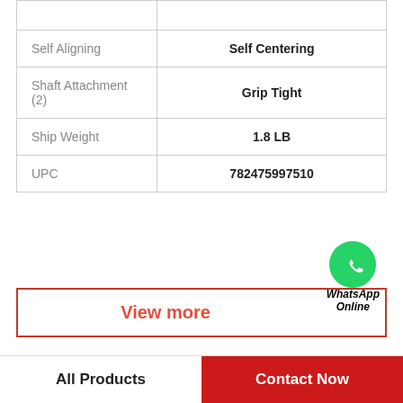| Property | Value |
| --- | --- |
| Self Aligning | Self Centering |
| Shaft Attachment (2) | Grip Tight |
| Ship Weight | 1.8 LB |
| UPC | 782475997510 |
View more
WhatsApp Online
Company Profile
QM INDUSTRIES BEARING LIMITED
All Products
Contact Now